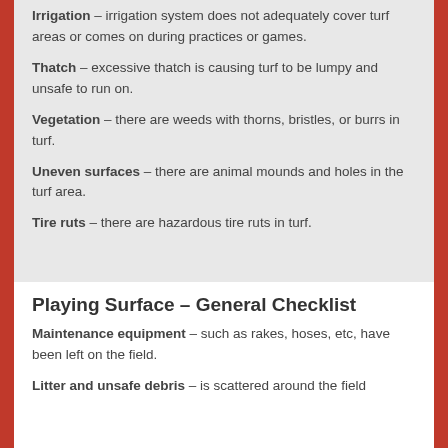Irrigation – irrigation system does not adequately cover turf areas or comes on during practices or games.
Thatch – excessive thatch is causing turf to be lumpy and unsafe to run on.
Vegetation – there are weeds with thorns, bristles, or burrs in turf.
Uneven surfaces – there are animal mounds and holes in the turf area.
Tire ruts – there are hazardous tire ruts in turf.
Playing Surface – General Checklist
Maintenance equipment – such as rakes, hoses, etc, have been left on the field.
Litter and unsafe debris – is scattered around the field